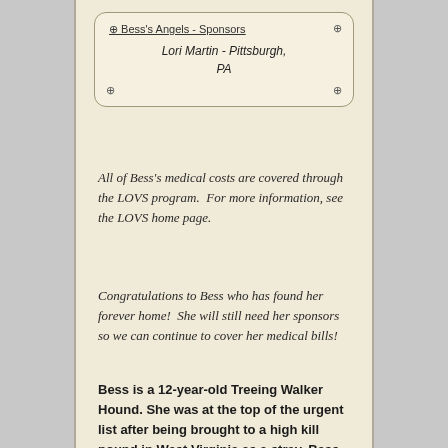Bess's Angels - Sponsors
Lori Martin - Pittsburgh, PA
All of Bess's medical costs are covered through the LOVS program.  For more information, see the LOVS home page.
Congratulations to Bess who has found her forever home!  She will still need her sponsors so we can continue to cover her medical bills!
Bess is a 12-year-old Treeing Walker Hound. She was at the top of the urgent list after being brought to a high kill pound in West Virginia as a stray. Bess was taken in as a foster through Paws Across Pittsburgh. After 7 months in